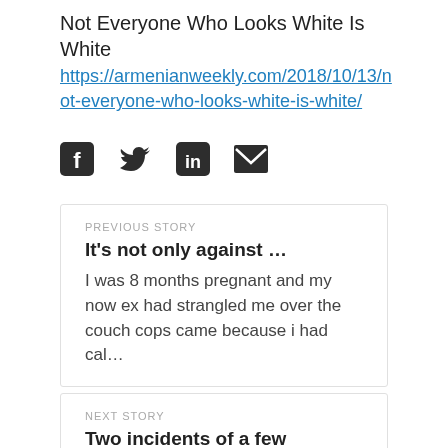Not Everyone Who Looks White Is White
https://armenianweekly.com/2018/10/13/not-everyone-who-looks-white-is-white/
[Figure (infographic): Social share icons: Facebook, Twitter, LinkedIn, Email]
PREVIOUS STORY
It’s not only against …
I was 8 months pregnant and my now ex had strangled me over the couch cops came because i had cal…
NEXT STORY
Two incidents of a few